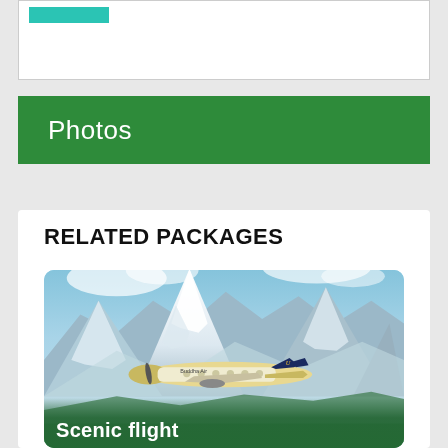[Figure (other): White card with teal colored button bar at top]
Photos
RELATED PACKAGES
[Figure (photo): Scenic flight photo showing small airplane (Buddha Air / Yeti Air) flying in front of snow-capped Himalayan mountains including Everest]
Scenic flight